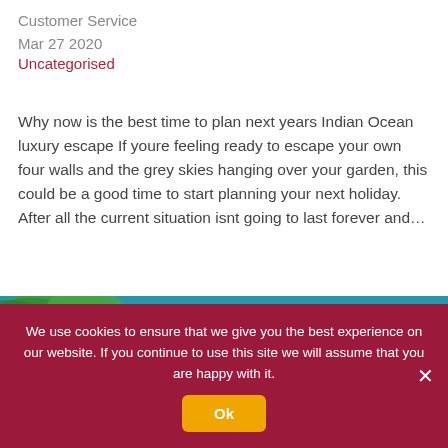Customer Service
Mar 27 2020
Uncategorised
Why now is the best time to plan next years Indian Ocean luxury escape If youre feeling ready to escape your own four walls and the grey skies hanging over your garden, this could be a good time to start planning your next holiday. After all the current situation isnt going to last forever and…
[Figure (photo): Tropical beach scene with palm trees and blue sky]
We use cookies to ensure that we give you the best experience on our website. If you continue to use this site we will assume that you are happy with it.